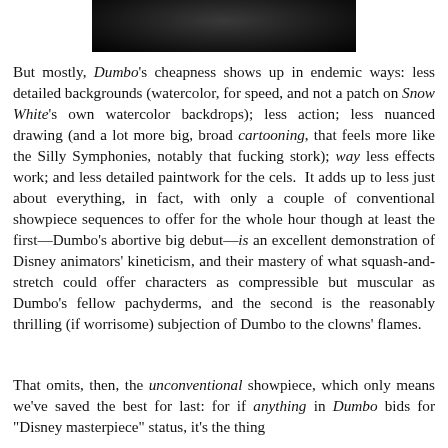[Figure (photo): Dark photograph, partially visible at top of page, showing indistinct dark subject matter]
But mostly, Dumbo's cheapness shows up in endemic ways: less detailed backgrounds (watercolor, for speed, and not a patch on Snow White's own watercolor backdrops); less action; less nuanced drawing (and a lot more big, broad cartooning, that feels more like the Silly Symphonies, notably that fucking stork); way less effects work; and less detailed paintwork for the cels.  It adds up to less just about everything, in fact, with only a couple of conventional showpiece sequences to offer for the whole hour though at least the first—Dumbo's abortive big debut—is an excellent demonstration of Disney animators' kineticism, and their mastery of what squash-and-stretch could offer characters as compressible but muscular as Dumbo's fellow pachyderms, and the second is the reasonably thrilling (if worrisome) subjection of Dumbo to the clowns' flames.
That omits, then, the unconventional showpiece, which only means we've saved the best for last: for if anything in Dumbo bids for "Disney masterpiece" status, it's the thing